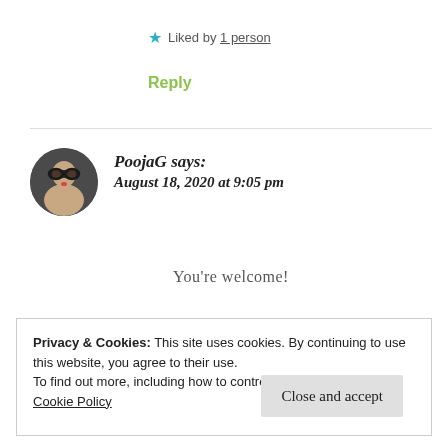★ Liked by 1 person
Reply
[Figure (photo): Circular avatar photo of PoojaG, a person wearing glasses]
PoojaG says: August 18, 2020 at 9:05 pm
You're welcome!
Privacy & Cookies: This site uses cookies. By continuing to use this website, you agree to their use. To find out more, including how to control cookies, see here: Cookie Policy
Close and accept